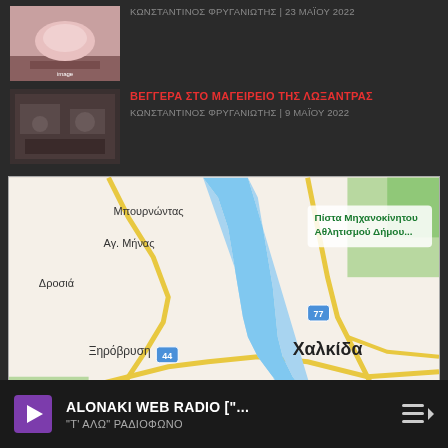ΚΩΝΣΤΑΝΤΙΝΟΣ ΦΡΥΓΑΝΙΩΤΗΣ | 23 ΜΑΪΟΥ 2022
ΒΕΓΓΕΡΑ ΣΤΟ ΜΑΓΕΙΡΕΙΟ ΤΗΣ ΛΩΞΑΝΤΡΑΣ — ΚΩΝΣΤΑΝΤΙΝΟΣ ΦΡΥΓΑΝΙΩΤΗΣ | 9 ΜΑΪΟΥ 2022
[Figure (map): Google Maps view of Chalkida (Χαλκίδα) area in Greece, showing water channel, surrounding neighborhoods including Μπουρνώντας, Αγ. Μήνας, Δροσιά, Ξηρόβρυση, Υψηλή Γέφυρα Ευρίπου, Πάσας, Νέα Λάμψακος, road numbers 44 and 77, and a marked location icon.]
ALONAKI WEB RADIO ["... — "Τ' ΑΛΩ" ΡΑΔΙΟΦΩΝΟ